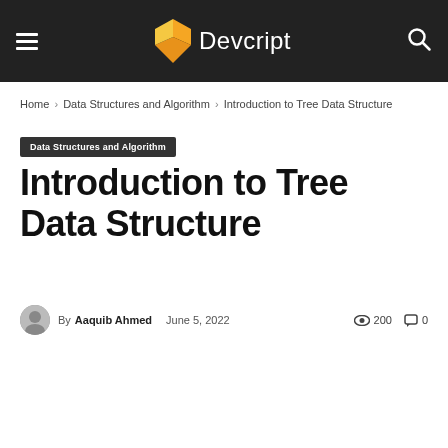Devcript
Home › Data Structures and Algorithm › Introduction to Tree Data Structure
Data Structures and Algorithm
Introduction to Tree Data Structure
By Aaquib Ahmed  June 5, 2022  200  0